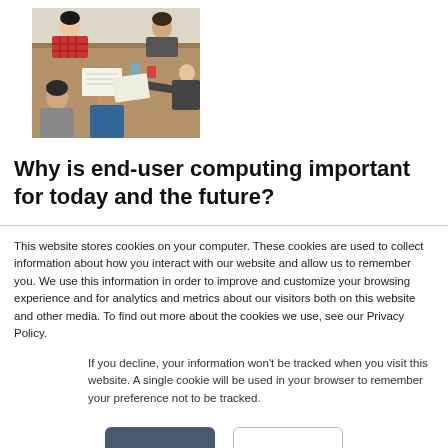[Figure (photo): Overhead view of a group of people sitting around a table, collaborating and working together with papers and drinks on the table.]
Why is end-user computing important for today and the future?
This website stores cookies on your computer. These cookies are used to collect information about how you interact with our website and allow us to remember you. We use this information in order to improve and customize your browsing experience and for analytics and metrics about our visitors both on this website and other media. To find out more about the cookies we use, see our Privacy Policy.
If you decline, your information won't be tracked when you visit this website. A single cookie will be used in your browser to remember your preference not to be tracked.
Accept
Decline